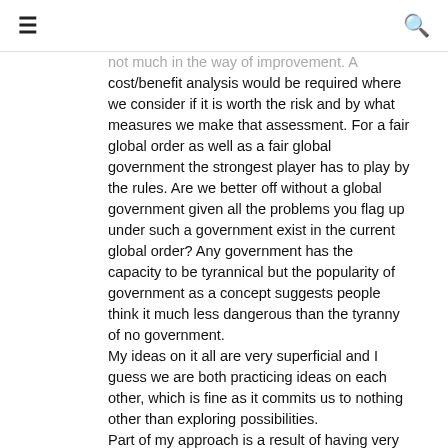≡  🔍
not much in the way of improvement. A cost/benefit analysis would be required where we consider if it is worth the risk and by what measures we make that assessment. For a fair global order as well as a fair global government the strongest player has to play by the rules. Are we better off without a global government given all the problems you flag up under such a government exist in the current global order? Any government has the capacity to be tyrannical but the popularity of government as a concept suggests people think it much less dangerous than the tyranny of no government.
My ideas on it all are very superficial and I guess we are both practicing ideas on each other, which is fine as it commits us to nothing other than exploring possibilities.
Part of my approach is a result of having very little nationalist sentiment either intellectually or emotionally. I am as fearful of obligatory nationalism as I am of obligatory religion.